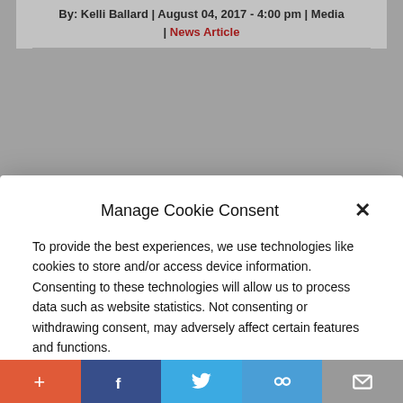By: Kelli Ballard | August 04, 2017 - 4:00 pm | Media | News Article
Manage Cookie Consent
To provide the best experiences, we use technologies like cookies to store and/or access device information. Consenting to these technologies will allow us to process data such as website statistics. Not consenting or withdrawing consent, may adversely affect certain features and functions.
Accept
Cookie Policy   Privacy Policy
tune of $4.85 billion. Couric will continue to work on a project basis with Oath, the